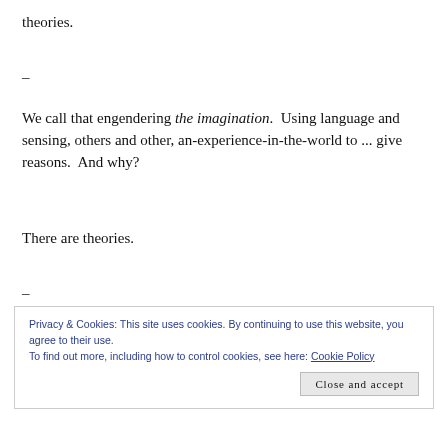theories.
–
We call that engendering the imagination.  Using language and sensing, others and other, an-experience-in-the-world to ... give reasons.  And why?
There are theories.
–
Privacy & Cookies: This site uses cookies. By continuing to use this website, you agree to their use.
To find out more, including how to control cookies, see here: Cookie Policy
Close and accept